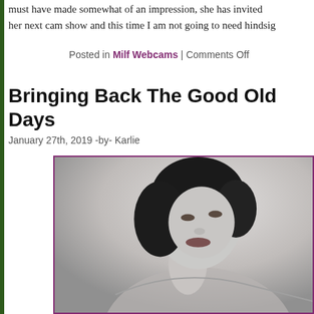must have made somewhat of an impression, she has invited her next cam show and this time I am not going to need hindsig
Posted in Milf Webcams | Comments Off
Bringing Back The Good Old Days
January 27th, 2019 -by- Karlie
[Figure (photo): Black and white vintage-style photograph of a young woman with dark curly hair, looking over her shoulder, partial torso visible]